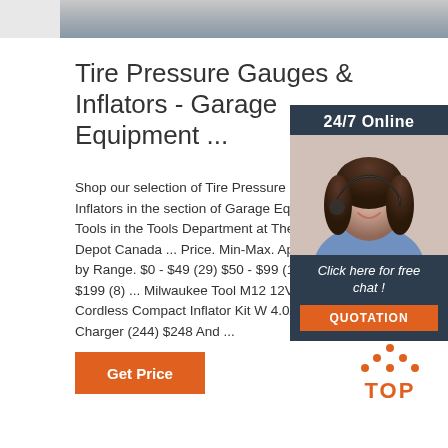[Figure (photo): Top banner photo showing metallic/gray surface, partially cropped]
Tire Pressure Gauges & Inflators - Garage Equipment ...
Shop our selection of Tire Pressure Gauges & Inflators in the section of Garage Equipment & Tools in the Tools Department at The Home Depot Canada ... Price. Min-Max. Apply. Shop by Range. $0 - $49 (29) $50 - $99 (11) $100 - $199 (8) ... Milwaukee Tool M12 12V Lithium-Ion Cordless Compact Inflator Kit W 4.0Ah Battery & Charger (244) $248 And ...
[Figure (photo): Sidebar panel with woman wearing headset smiling, 24/7 Online support widget with 'Click here for free chat!' and QUOTATION button]
[Figure (logo): TOP logo with orange triangular arrow design and orange text]
Get Price